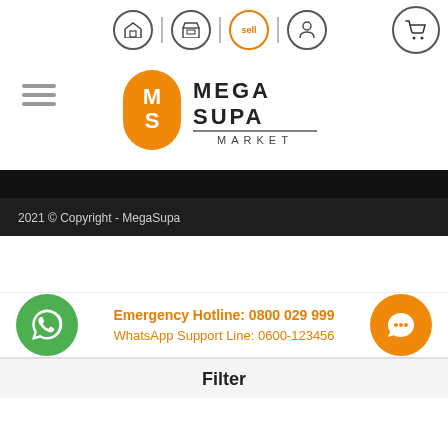[Figure (screenshot): Navigation bar with home, store, sell, profile, and cart icons]
[Figure (logo): MegaSupa Market logo with orange M/S icon and stylized text]
2021 © Copyright - MegaSupa
Emergency Hotline: 0800 029 999
WhatsApp Support Line: 0600-123456
Filter